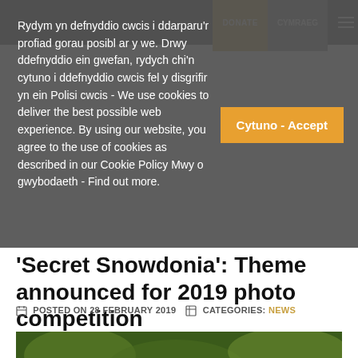Rydym yn defnyddio cwcis i ddarparu'r profiad gorau posibl ar y we. Drwy ddefnyddio ein gwefan, rydych chi'n cytuno i ddefnyddio cwcis fel y disgrifir yn ein Polisi cwcis - We use cookies to deliver the best possible web experience. By using our website, you agree to the use of cookies as described in our Cookie Policy Mwy o gwybodaeth - Find out more.
'Secret Snowdonia': Theme announced for 2019 photo competition
POSTED ON 28 FEBRUARY 2019   CATEGORIES: NEWS
[Figure (photo): Green vegetation/nature photo with a sign reading 'Eryri Gudd' (Secret Snowdonia) overlaid with a rounded rectangle border in light green.]